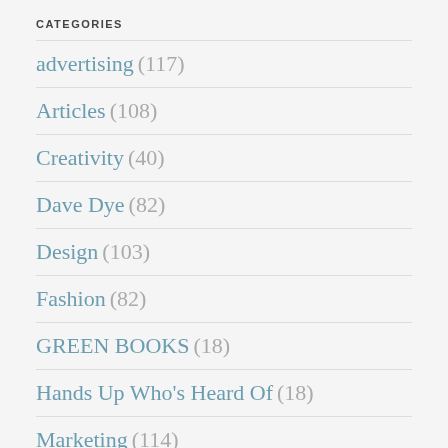CATEGORIES
advertising (117)
Articles (108)
Creativity (40)
Dave Dye (82)
Design (103)
Fashion (82)
GREEN BOOKS (18)
Hands Up Who's Heard Of (18)
Marketing (114)
photography (82)